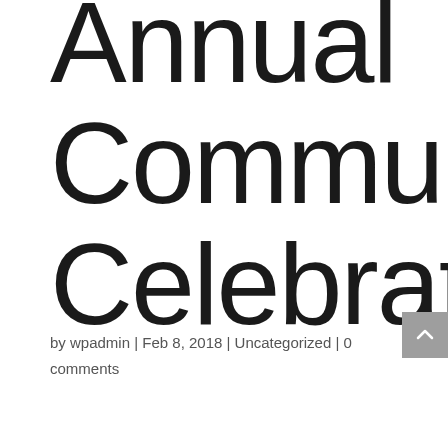Annual Community Celebration
by wpadmin | Feb 8, 2018 | Uncategorized | 0 comments